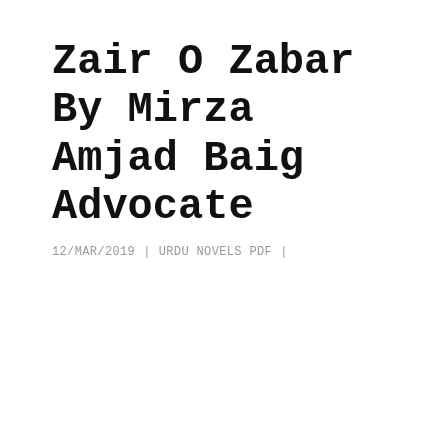Zair O Zabar By Mirza Amjad Baig Advocate
12/MAR/2019  |  URDU NOVELS PDF  |